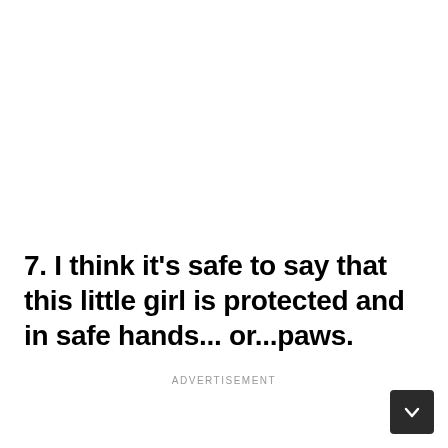7. I think it’s safe to say that this little girl is protected and in safe hands... or...paws.
ADVERTISEMENT